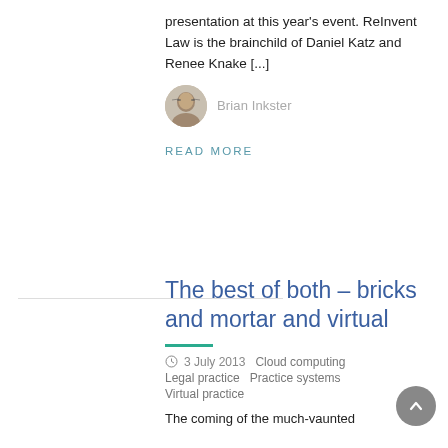presentation at this year's event. ReInvent Law is the brainchild of Daniel Katz and Renee Knake [...]
Brian Inkster
READ MORE
The best of both – bricks and mortar and virtual
3 July 2013  Cloud computing  Legal practice  Practice systems  Virtual practice
The coming of the much-vaunted